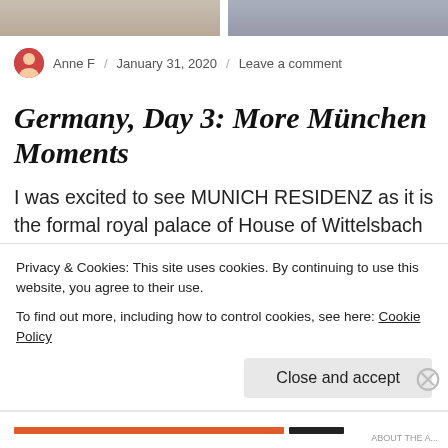[Figure (photo): Two cropped photos at the top of the page — left shows a person outdoors, right shows another person outdoors.]
Anne F / January 31, 2020 / Leave a comment
Germany, Day 3: More München Moments
I was excited to see MUNICH RESIDENZ as it is the formal royal palace of House of Wittelsbach and it is considered as the
Privacy & Cookies: This site uses cookies. By continuing to use this website, you agree to their use.
To find out more, including how to control cookies, see here: Cookie Policy
Close and accept
ABOUT THE A...